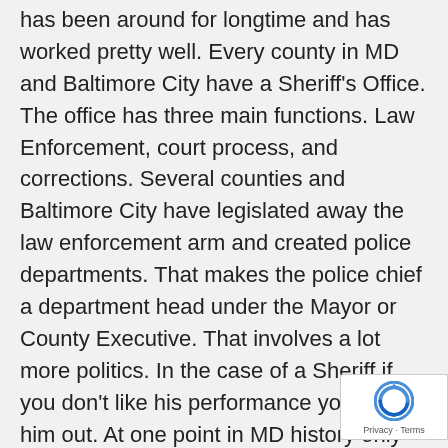has been around for longtime and has worked pretty well. Every county in MD and Baltimore City have a Sheriff's Office. The office has three main functions. Law Enforcement, court process, and corrections. Several counties and Baltimore City have legislated away the law enforcement arm and created police departments. That makes the police chief a department head under the Mayor or County Executive. That involves a lot more politics. In the case of a Sheriff if you don't like his performance you vote him out. At one point in MD history only one person had the authority to arrest the sitting Sheriff was the coroner. Like him or not, Sheriff Gahler takes a stand and is no ones puppet. The people of Harford County elected him to do a job and that is what he is trying to do. I have an idea. For all the